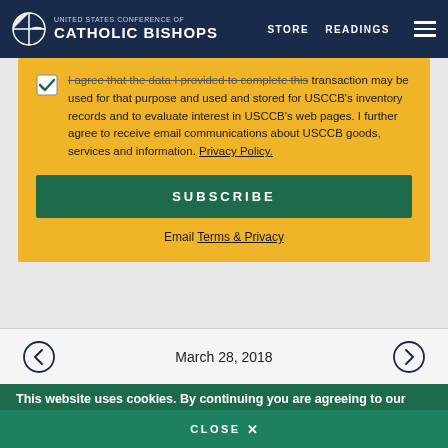United States Conference of Catholic Bishops | STORE | READINGS
I agree that the data I provided to complete this transaction may be used for that purpose and used and stored for USCCB's inventory records and to evaluate interest in USCCB's web pages. I further agree to receive email communications about USCCB goods, services and information. Privacy Policy.
SUBSCRIBE
Email Terms & Privacy
March 28, 2018
This website uses cookies. By continuing you are agreeing to our Privacy Policy
CLOSE X